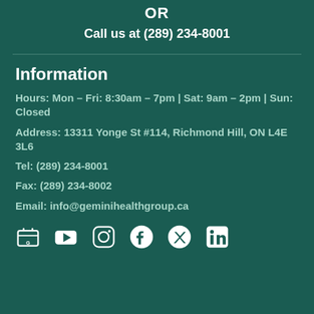OR
Call us at (289) 234-8001
Information
Hours: Mon – Fri: 8:30am – 7pm | Sat: 9am – 2pm | Sun: Closed
Address: 13311 Yonge St #114, Richmond Hill, ON L4E 3L6
Tel: (289) 234-8001
Fax: (289) 234-8002
Email: info@geminihealthgroup.ca
[Figure (illustration): Row of social media icons: Google, YouTube, Instagram, Facebook, Twitter/X, LinkedIn]